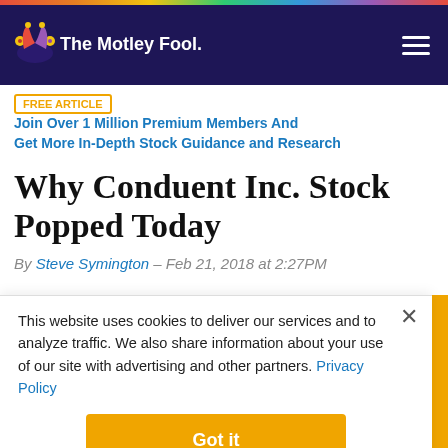The Motley Fool
FREE ARTICLE · Join Over 1 Million Premium Members And Get More In-Depth Stock Guidance and Research
Why Conduent Inc. Stock Popped Today
By Steve Symington · Feb 21, 2018 at 2:27PM
This website uses cookies to deliver our services and to analyze traffic. We also share information about your use of our site with advertising and other partners. Privacy Policy
Got it
Cookie Settings